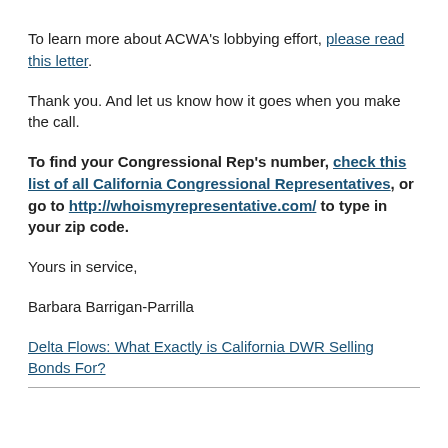To learn more about ACWA's lobbying effort, please read this letter.
Thank you. And let us know how it goes when you make the call.
To find your Congressional Rep's number, check this list of all California Congressional Representatives, or go to http://whoismyrepresentative.com/ to type in your zip code.
Yours in service,
Barbara Barrigan-Parrilla
Delta Flows: What Exactly is California DWR Selling Bonds For?